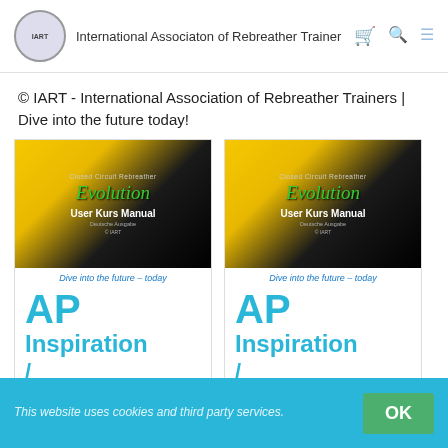International Associaton of Rebreather Trainer
© IART - International Association of Rebreather Trainers | Dive into the future today!
[Figure (illustration): Book cover for AP Inspiration Closed Circuit Rebreather Evolution User Kurs Manual with tagline Dive into the future – today]
[Figure (illustration): Book cover for AP Inspiration Closed Circuit Rebreather Evolution User Kurs Manual with tagline Dive into the future – today]
This website uses cookies and third party services.
OK